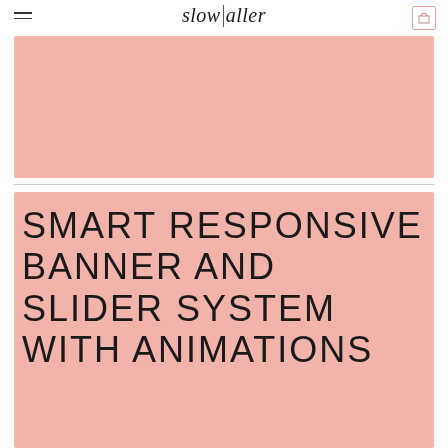slow taller
[Figure (illustration): Pink/salmon colored banner image placeholder at top of page]
SMART RESPONSIVE BANNER AND SLIDER SYSTEM WITH ANIMATIONS
[Figure (illustration): Pink/salmon colored banner image placeholder at bottom of page]